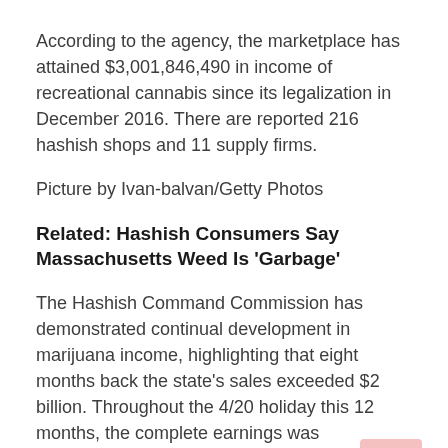According to the agency, the marketplace has attained $3,001,846,490 in income of recreational cannabis since its legalization in December 2016. There are reported 216 hashish shops and 11 supply firms.
Picture by Ivan-balvan/Getty Photos
Related: Hashish Consumers Say Massachusetts Weed Is 'Garbage'
The Hashish Command Commission has demonstrated continual development in marijuana income, highlighting that eight months back the state's sales exceeded $2 billion. Throughout the 4/20 holiday this 12 months, the complete earnings was $5,986,186 in one particular day.
These skyrocketing profits in the hashish market go